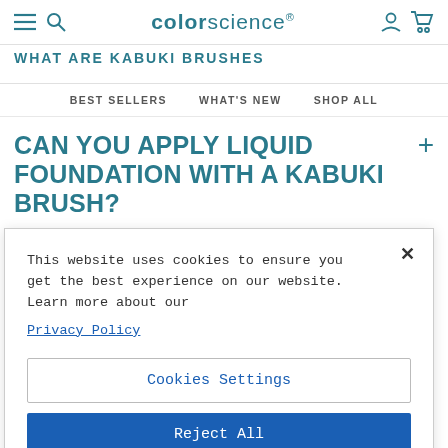colorescience® — navigation with hamburger menu, search, user account, and cart icons
WHAT ARE KABUKI BRUSHES
BEST SELLERS   WHAT'S NEW   SHOP ALL
CAN YOU APPLY LIQUID FOUNDATION WITH A KABUKI BRUSH?
This website uses cookies to ensure you get the best experience on our website. Learn more about our Privacy Policy
Cookies Settings
Reject All
Accept All Cookies